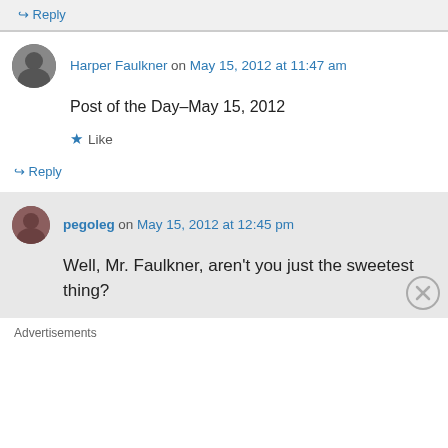↳ Reply
Harper Faulkner on May 15, 2012 at 11:47 am
Post of the Day–May 15, 2012
★ Like
↳ Reply
pegoleg on May 15, 2012 at 12:45 pm
Well, Mr. Faulkner, aren't you just the sweetest thing?
Advertisements